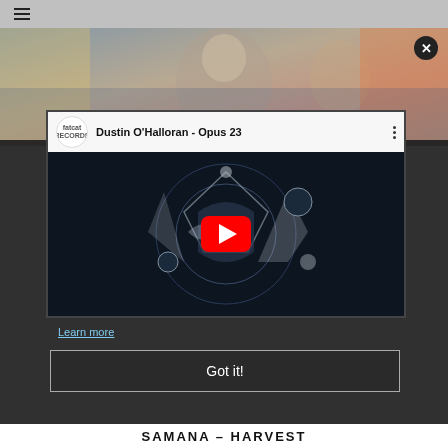[Figure (screenshot): Screenshot of a website showing a YouTube embed of 'Dustin O'Halloran - Opus 23' from FatCat Records, overlaid with a cookie consent dialog with 'Learn more' link and 'Got it!' button. A banner photo of a person is partially visible behind the overlay. A hamburger menu icon is visible in the top-left.]
Dustin O'Halloran - Opus 23
Learn more
Got it!
SAMANA – HARVEST